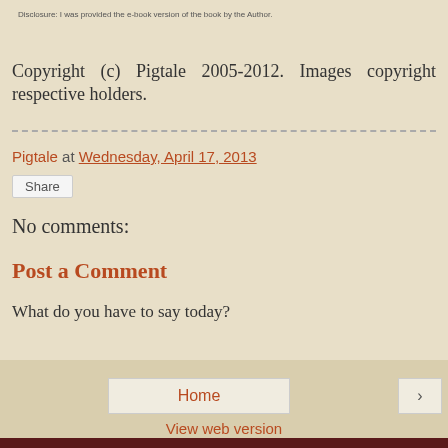Disclosure: I was provided the e-book version of the book by the Author.
Copyright (c) Pigtale 2005-2012. Images copyright respective holders.
Pigtale at Wednesday, April 17, 2013
Share
No comments:
Post a Comment
What do you have to say today?
Home
›
View web version